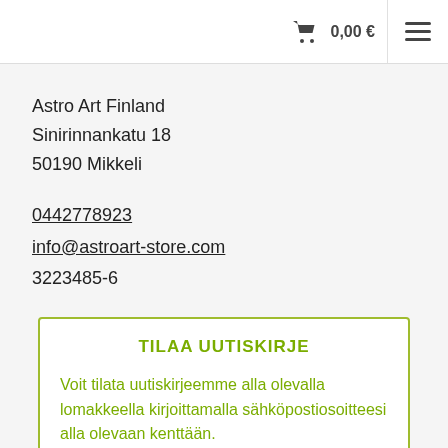🛒 0,00 € ☰
Astro Art Finland
Sinirinnankatu 18
50190 Mikkeli
0442778923
info@astroart-store.com
3223485-6
TILAA UUTISKIRJE
Voit tilata uutiskirjeemme alla olevalla lomakkeella kirjoittamalla sähköpostiosoitteesi alla olevaan kenttään.